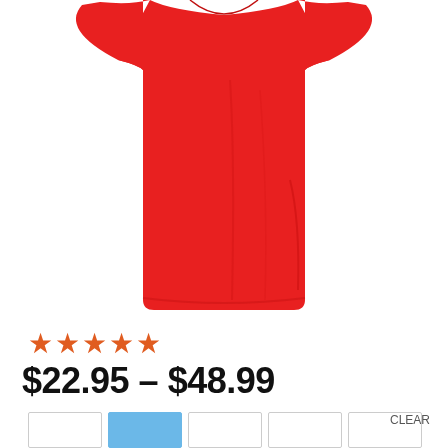[Figure (photo): Red athletic t-shirt product photo, showing the torso and lower body of a red short-sleeve shirt on a white background.]
★★★★★
$22.95 – $48.99
[Figure (other): Color swatches row: white, blue (selected/highlighted), white, white, white. CLEAR link at right.]